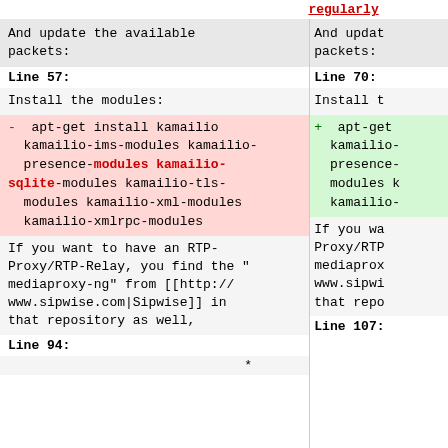regularly (top right, red underlined)
And update the available packets:
And updat packets:
Line 57:
Line 70:
Install the modules:
Install t
- apt-get install kamailio kamailio-ims-modules kamailio-presence-modules kamailio-sqlite-modules kamailio-tls-modules kamailio-xml-modules kamailio-xmlrpc-modules
+ apt-get kamailio- presence- modules k kamailio-
If you want to have an RTP-Proxy/RTP-Relay, you find the "mediaproxy-ng" from [[http://www.sipwise.com|Sipwise]] in that repository as well,
If you wa Proxy/RTP mediaprox www.sipwi that repo
Line 94:
Line 107:
*